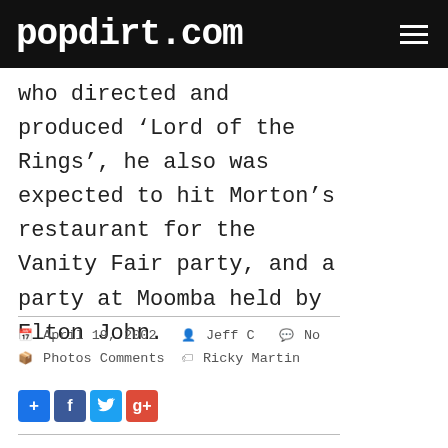popdirt.com
who directed and produced ‘Lord of the Rings’, he also was expected to hit Morton’s restaurant for the Vanity Fair party, and a party at Moomba held by Elton John.
April 19, 2002  Jeff C  No Photos Comments  Ricky Martin
«Jennifer Lopez